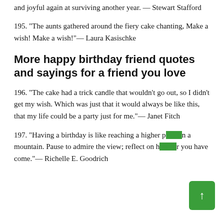and joyful again at surviving another year. — Stewart Stafford
195. "The aunts gathered around the fiery cake chanting, Make a wish! Make a wish!"— Laura Kasischke
More happy birthday friend quotes and sayings for a friend you love
196. "The cake had a trick candle that wouldn't go out, so I didn't get my wish. Which was just that it would always be like this, that my life could be a party just for me."— Janet Fitch
197. "Having a birthday is like reaching a higher peak on a mountain. Pause to admire the view; reflect on how far you have come."— Richelle E. Goodrich